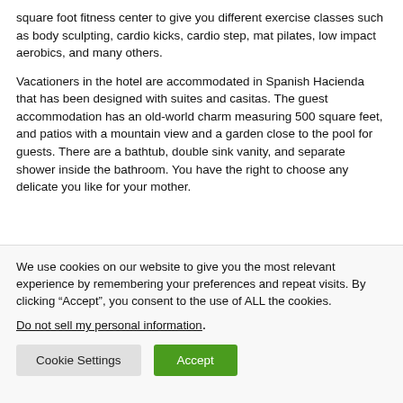square foot fitness center to give you different exercise classes such as body sculpting, cardio kicks, cardio step, mat pilates, low impact aerobics, and many others.
Vacationers in the hotel are accommodated in Spanish Hacienda that has been designed with suites and casitas. The guest accommodation has an old-world charm measuring 500 square feet, and patios with a mountain view and a garden close to the pool for guests. There are a bathtub, double sink vanity, and separate shower inside the bathroom. You have the right to choose any delicate you like for your mother.
We use cookies on our website to give you the most relevant experience by remembering your preferences and repeat visits. By clicking “Accept”, you consent to the use of ALL the cookies.
Do not sell my personal information.